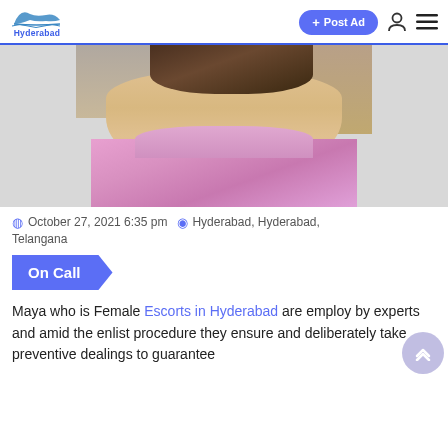Hyderabad | + Post Ad
[Figure (photo): Photo of a woman in a pink outfit outdoors near water]
October 27, 2021 6:35 pm  Hyderabad, Hyderabad, Telangana
On Call
Maya who is Female Escorts in Hyderabad are employ by experts and amid the enlist procedure they ensure and deliberately take preventive dealings to guarantee